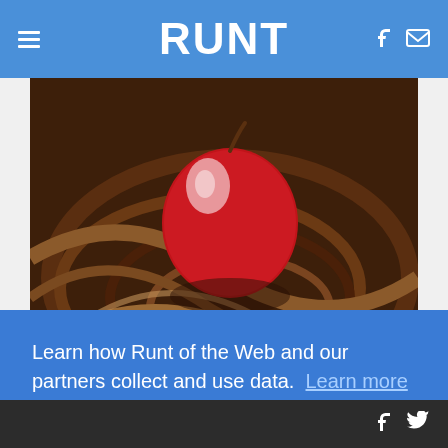RUNT
[Figure (photo): A shiny red strawberry or cherry being dipped into swirling dark chocolate.]
6 Aphrodisiac Foods Guaranteed To Sex Up Your
Learn how Runt of the Web and our partners collect and use data. Learn more
Decline
Allow cookies
f  (Twitter bird icon)